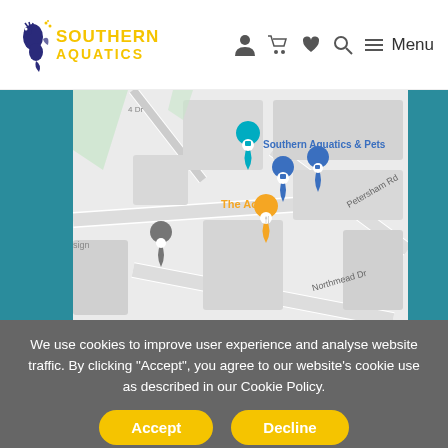SOUTHERN AQUATICS — navigation bar with logo and menu icons
[Figure (map): Google Maps screenshot showing Southern Aquatics & Pets location on Petersham Rd, with nearby landmarks The Acorn, and street Northmead Dr visible. Multiple map pins (teal, blue, orange, grey) mark various locations.]
We use cookies to improve user experience and analyse website traffic. By clicking "Accept", you agree to our website's cookie use as described in our Cookie Policy.
Accept
Decline